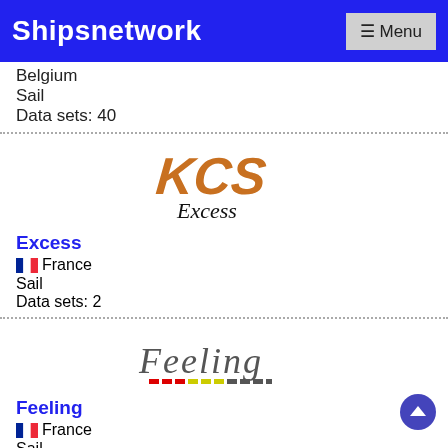Shipsnetwork  ☰ Menu
Belgium
Sail
Data sets: 40
[Figure (logo): KCS Excess logo — stylized orange 'KCS' with italic black 'Excess' below]
Excess
France
Sail
Data sets: 2
[Figure (logo): Feeling brand logo — handwritten 'Feeling' text with small colored stripe beneath]
Feeling
France
Sail
Data sets: 72
[Figure (logo): Feltz-Werft circular logo — partially visible at bottom of page]